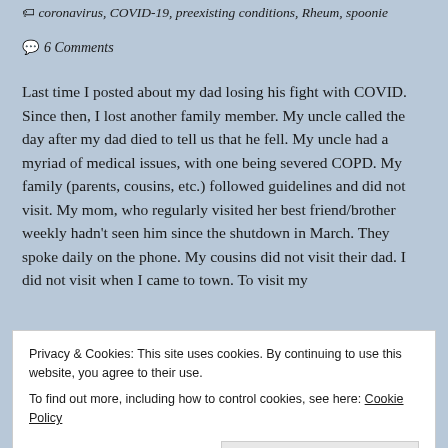🏷 coronavirus, COVID-19, preexisting conditions, Rheum, spoonie
💬 6 Comments
Last time I posted about my dad losing his fight with COVID. Since then, I lost another family member. My uncle called the day after my dad died to tell us that he fell. My uncle had a myriad of medical issues, with one being severed COPD. My family (parents, cousins, etc.) followed guidelines and did not visit. My mom, who regularly visited her best friend/brother weekly hadn't seen him since the shutdown in March. They spoke daily on the phone. My cousins did not visit their dad. I did not visit when I came to town. To visit my
Privacy & Cookies: This site uses cookies. By continuing to use this website, you agree to their use.
To find out more, including how to control cookies, see here: Cookie Policy
Close and accept
so they could get physical therapy following falls. Both